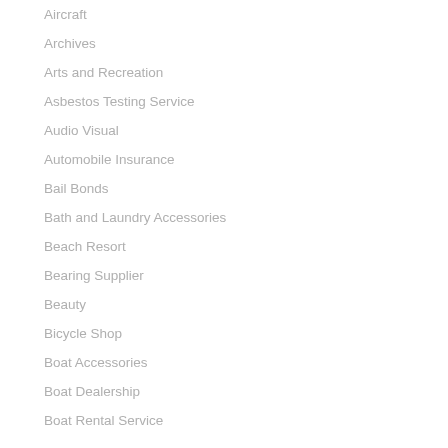Aircraft
Archives
Arts and Recreation
Asbestos Testing Service
Audio Visual
Automobile Insurance
Bail Bonds
Bath and Laundry Accessories
Beach Resort
Bearing Supplier
Beauty
Bicycle Shop
Boat Accessories
Boat Dealership
Boat Rental Service